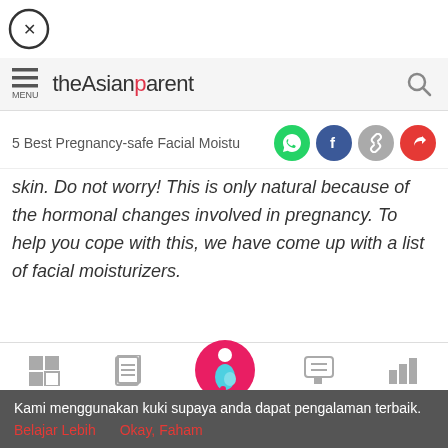[Figure (screenshot): Close button (X in circle) at top left of screen]
theAsianparent — MENU header with search icon
5 Best Pregnancy-safe Facial Moistu…
skin. Do not worry! This is only natural because of the hormonal changes involved in pregnancy. To help you cope with this, we have come up with a list of facial moisturizers.
[Figure (screenshot): Gray image placeholder area]
Alat | Artikel | (home) | Feed | Poll bottom navigation bar
Kami menggunakan kuki supaya anda dapat pengalaman terbaik. Belajar Lebih    Okay, Faham